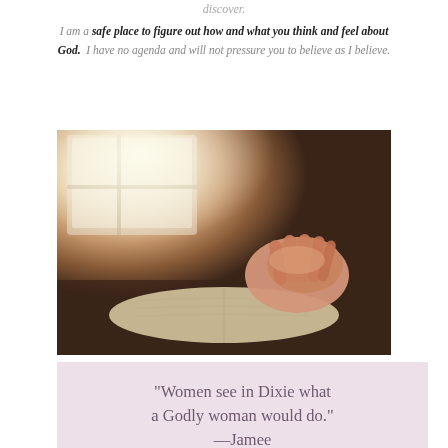discover.
I am a safe place to figure out how and what you think and feel about God. I have no agenda and will not pressure you to believe as I believe.
[Figure (photo): Hands clasped together in prayer resting on an open Bible on a wooden surface near a window with soft light coming through]
"Women see in Dixie what a Godly woman would do." —Jamee